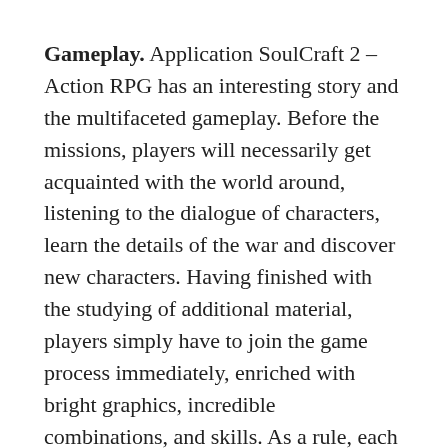Gameplay. Application SoulCraft 2 – Action RPG has an interesting story and the multifaceted gameplay. Before the missions, players will necessarily get acquainted with the world around, listening to the dialogue of characters, learn the details of the war and discover new characters. Having finished with the studying of additional material, players simply have to join the game process immediately, enriched with bright graphics, incredible combinations, and skills. As a rule, each level represents an arena in which there are constantly different opponents. The task of players is to use the available skills, destroy enemies or perform quests.
Try to overcome the darkness alone or team up with the same heroes as you. Do not be afraid to